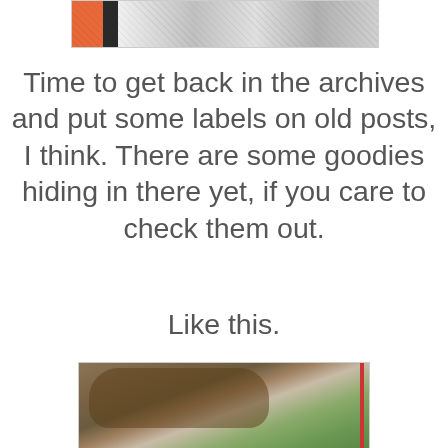[Figure (photo): Partial view of a quilt or textile with orange, black and white patterns]
Time to get back in the archives and put some labels on old posts, I think. There are some goodies hiding in there yet, if you care to check them out.
Like this.
[Figure (photo): Close-up photo of a donkey or mule face under a wooden shelter, with green trees in background and a red post visible]